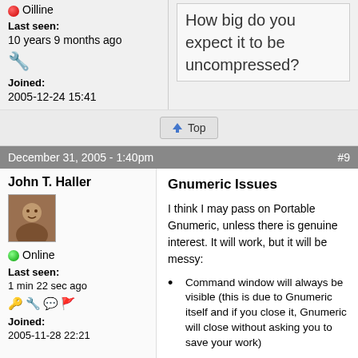Online
Last seen: 10 years 9 months ago
Joined: 2005-12-24 15:41
How big do you expect it to be uncompressed?
Top
December 31, 2005 - 1:40pm  #9
John T. Haller
Online
Last seen: 1 min 22 sec ago
Joined: 2005-11-28 22:21
Gnumeric Issues
I think I may pass on Portable Gnumeric, unless there is genuine interest. It will work, but it will be messy:
Command window will always be visible (this is due to Gnumeric itself and if you close it, Gnumeric will close without asking you to save your work)
Registry keys will need to be backed up and restored (this adds complexity